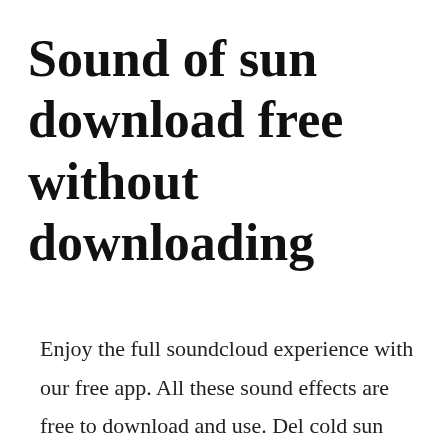Sound of sun download free without downloading
Enjoy the full soundcloud experience with our free app. All these sound effects are free to download and use. Del cold sun free download by free music for vlogs on. Free slots no download offer tons of benefits, and